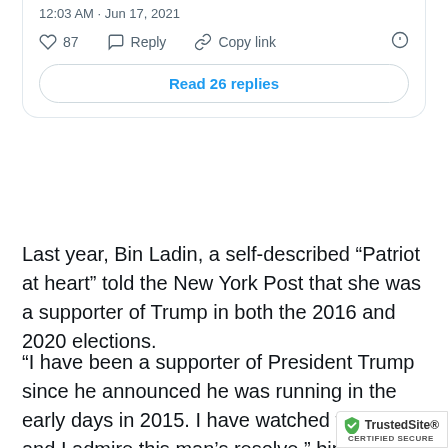[Figure (screenshot): Twitter/X tweet card showing timestamp '12:03 AM · Jun 17, 2021', action buttons (heart 87, Reply, Copy link, info icon), and a 'Read 26 replies' button]
Last year, Bin Ladin, a self-described “Patriot at heart” told the New York Post that she was a supporter of Trump in both the 2016 and 2020 elections.
“I have been a supporter of President Trump since he announced he was running in the early days in 2015. I have watched from afar and I admire this man’s resolve,” bin Ladin, who resides in Switzerland, told the New York Post last year.
“He must be re-elected … It’s vital for the futu… only America, but western civilization as a wh…
[Figure (logo): TrustedSite CERTIFIED SECURE badge in bottom right corner]